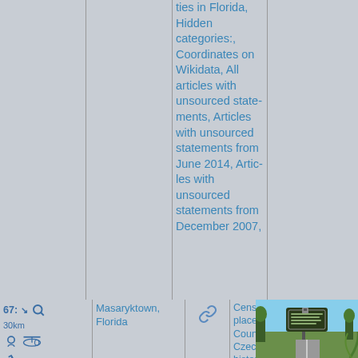ties in Florida, Hidden categories:, Coordinates on Wikidata, All articles with unsourced statements, Articles with unsourced statements from June 2014, Articles with unsourced statements from December 2007,
67: 30km
Masaryktown, Florida
Census-designated places in Hernando County, Florida, Czech-American history, Slovak
[Figure (photo): Photo of a historical marker sign for Masaryktown, Florida, with trees and blue sky in background]